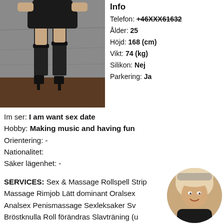[Figure (photo): Photo of a person in black lingerie and stockings with high heels]
Info
Telefon: +46XXX61632
Ålder: 25
Höjd: 168 (cm)
Vikt: 74 (kg)
Silikon: Nej
Parkering: Ja
Im ser: I am want sex date
Hobby: Making music and having fun
Orientering: -
Nationalitet:
Säker lägenhet: -
SERVICES: Sex & Massage Rollspell Strip Massage Rimjob Lätt dominant Oralsex Analsex Penismassage Sexleksaker Sv... Bröstknulla Roll förändras Slavträning (u... på ansiktet Smekning Kyss Fotfetisch
[Figure (photo): Circular thumbnail portrait photo of a person with blonde wavy hair]